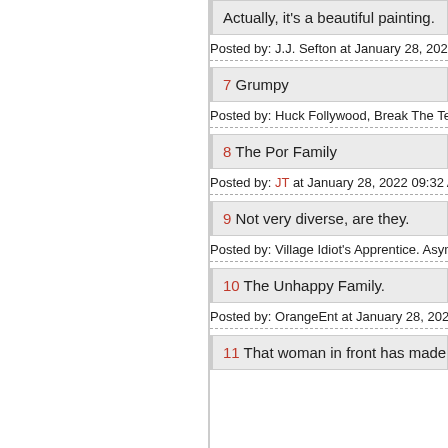Actually, it's a beautiful painting.
Posted by: J.J. Sefton at January 28, 2022 09:31 A
7 Grumpy
Posted by: Huck Follywood, Break The Teachers
8 The Por Family
Posted by: JT at January 28, 2022 09:32 AM (arJ
9 Not very diverse, are they.
Posted by: Village Idiot's Apprentice. Asymptoma
10 The Unhappy Family.
Posted by: OrangeEnt at January 28, 2022 09:32
11 That woman in front has made up her m